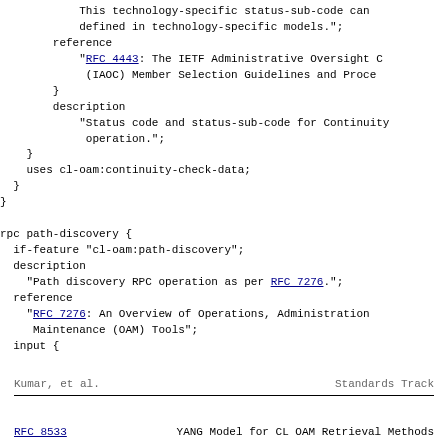This technology-specific status-sub-code can
            defined in technology-specific models.";
        reference
            "RFC 4443: The IETF Administrative Oversight C
             (IAOC) Member Selection Guidelines and Proce
        }
        description
            "Status code and status-sub-code for Continuity
             operation.";
    }
    uses cl-oam:continuity-check-data;
  }
}

rpc path-discovery {
  if-feature "cl-oam:path-discovery";
  description
    "Path discovery RPC operation as per RFC 7276.";
  reference
    "RFC 7276: An Overview of Operations, Administration
     Maintenance (OAM) Tools";
  input {
Kumar, et al.                    Standards Track
RFC 8533          YANG Model for CL OAM Retrieval Methods